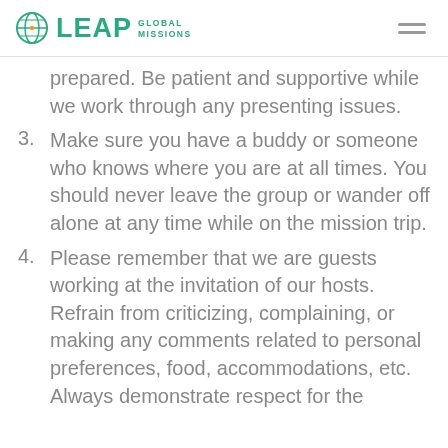LEAP GLOBAL MISSIONS
prepared. Be patient and supportive while we work through any presenting issues.
3. Make sure you have a buddy or someone who knows where you are at all times. You should never leave the group or wander off alone at any time while on the mission trip.
4. Please remember that we are guests working at the invitation of our hosts. Refrain from criticizing, complaining, or making any comments related to personal preferences, food, accommodations, etc. Always demonstrate respect for the